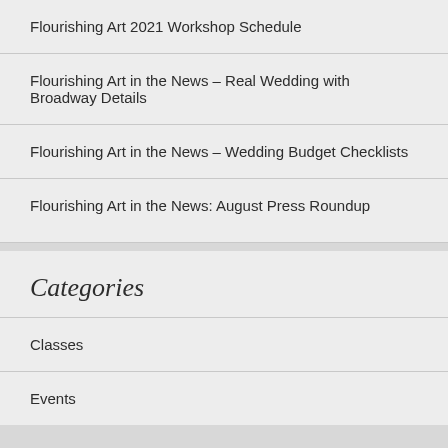Flourishing Art 2021 Workshop Schedule
Flourishing Art in the News – Real Wedding with Broadway Details
Flourishing Art in the News – Wedding Budget Checklists
Flourishing Art in the News: August Press Roundup
Categories
Classes
Events